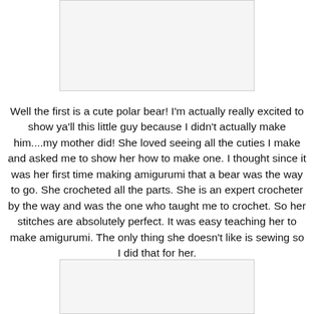[Figure (photo): Partial image at top of page, cropped]
Well the first is a cute polar bear! I'm actually really excited to show ya'll this little guy because I didn't actually make him....my mother did! She loved seeing all the cuties I make and asked me to show her how to make one. I thought since it was her first time making amigurumi that a bear was the way to go. She crocheted all the parts. She is an expert crocheter by the way and was the one who taught me to crochet. So her stitches are absolutely perfect. It was easy teaching her to make amigurumi. The only thing she doesn't like is sewing so I did that for her.
[Figure (photo): Partial image at bottom of page, cropped]